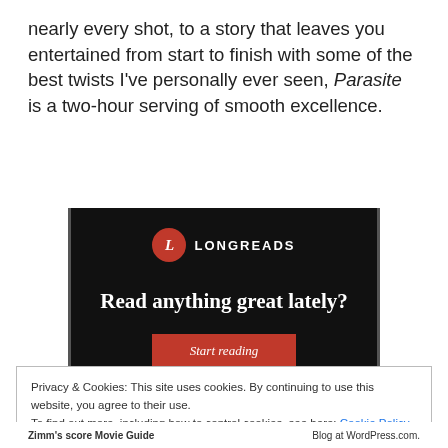nearly every shot, to a story that leaves you entertained from start to finish with some of the best twists I've personally ever seen, Parasite is a two-hour serving of smooth excellence.
[Figure (other): Longreads advertisement banner with dark background, Longreads logo with red circle and 'L', headline 'Read anything great lately?' and red 'Start reading' button]
Privacy & Cookies: This site uses cookies. By continuing to use this website, you agree to their use.
To find out more, including how to control cookies, see here: Cookie Policy
Zimm's score Movie Guide | Blog at WordPress.com.